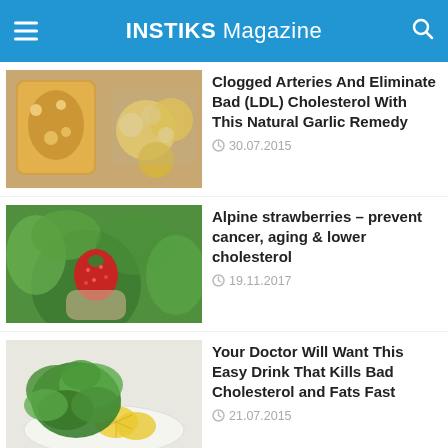INSTIKS Magazine
[Figure (photo): Jar of garlic in honey/oil with lemons and garlic cloves on wooden surface]
Clogged Arteries And Eliminate Bad (LDL) Cholesterol With This Natural Garlic Remedy
30.07.2015
[Figure (photo): Hand holding a red alpine strawberry surrounded by green leaves]
Alpine strawberries – prevent cancer, aging & lower cholesterol
19.11.2017
[Figure (photo): Plate with fresh parsley and lemon slices]
Your Doctor Will Want This Easy Drink That Kills Bad Cholesterol and Fats Fast
21.07.2015